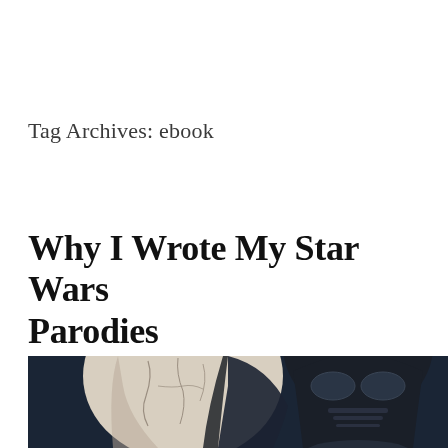Tag Archives: ebook
Why I Wrote My Star Wars Parodies
[Figure (illustration): Illustration showing a figure in dark Darth Vader-like armor and helmet on the right, and a white cracked mask or face on the left, set against a dark background. Comic/graphic novel art style.]